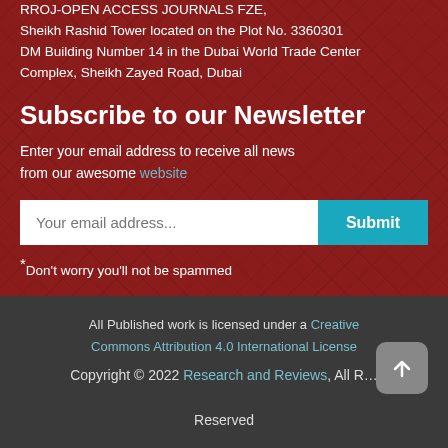RROJ-OPEN ACCESS JOURNALS FZE, Sheikh Rashid Tower located on the Plot No. 3360301 DM Building Number 14 in the Dubai World Trade Center Complex, Sheikh Zayed Road, Dubai
Subscribe to our Newsletter
Enter your email address to receive all news from our awesome website
*Don't worry you'll not be spammed
All Published work is licensed under a Creative Commons Attribution 4.0 International License
Copyright © 2022 Research and Reviews, All Rights Reserved